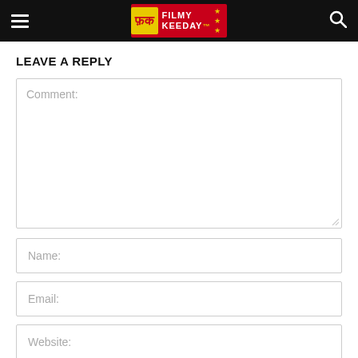Filmy Keeday website header with hamburger menu, logo, and search icon
LEAVE A REPLY
Comment:
Name:
Email:
Website: